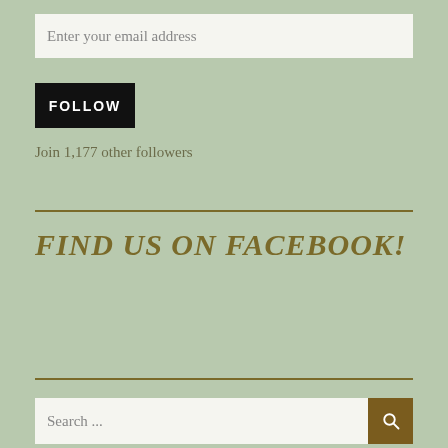Enter your email address
FOLLOW
Join 1,177 other followers
FIND US ON FACEBOOK!
Search ...